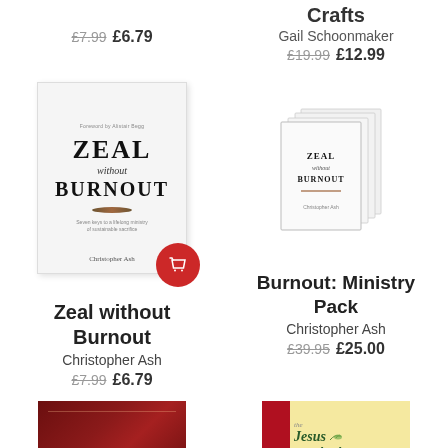£7.99  £6.79
Crafts
Gail Schoonmaker
£19.99  £12.99
[Figure (photo): Book cover of Zeal without Burnout by Christopher Ash, white cover with large serif text]
[Figure (photo): Ministry pack - stacked copies of Zeal without Burnout books]
Zeal without Burnout
Christopher Ash
£7.99  £6.79
Burnout: Ministry Pack
Christopher Ash
£39.95  £25.00
[Figure (photo): Partial view of a red/dark book cover at bottom left]
[Figure (photo): Partial view of The Jesus Storybook at bottom right, yellow cover with red spine]